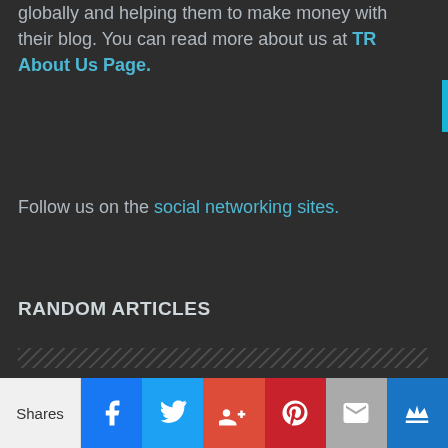globally and helping them to make money with their blog. You can read more about us at TR About Us Page.
Follow us on the social networking sites.
RANDOM ARTICLES
10 Reasons Why You Need a Website
4 Tips for Writing Content for Conversions
Your Ultimate 2019 Website
Shares | Facebook | Twitter | Google+ | Pinterest | Email | Crown